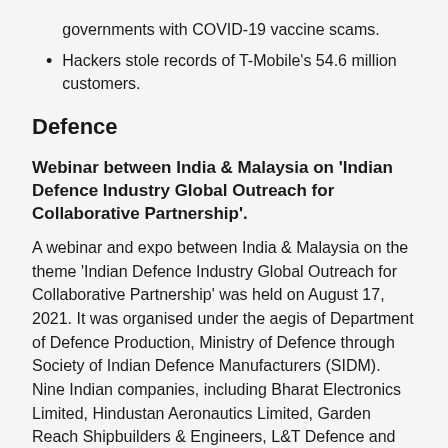governments with COVID-19 vaccine scams.
Hackers stole records of T-Mobile's 54.6 million customers.
Defence
Webinar between India & Malaysia on 'Indian Defence Industry Global Outreach for Collaborative Partnership'.
A webinar and expo between India & Malaysia on the theme 'Indian Defence Industry Global Outreach for Collaborative Partnership' was held on August 17, 2021. It was organised under the aegis of Department of Defence Production, Ministry of Defence through Society of Indian Defence Manufacturers (SIDM). Nine Indian companies, including Bharat Electronics Limited, Hindustan Aeronautics Limited, Garden Reach Shipbuilders & Engineers, L&T Defence and Bharat Forge Limited, gave presentations on major defence